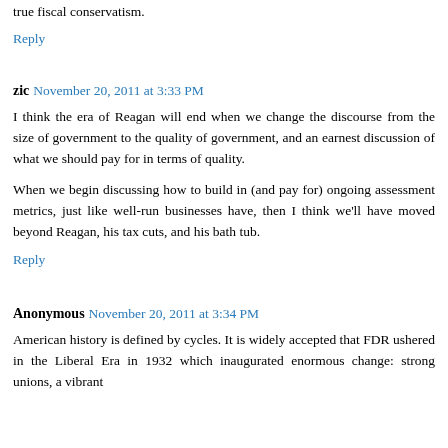true fiscal conservatism.
Reply
zic  November 20, 2011 at 3:33 PM
I think the era of Reagan will end when we change the discourse from the size of government to the quality of government, and an earnest discussion of what we should pay for in terms of quality.
When we begin discussing how to build in (and pay for) ongoing assessment metrics, just like well-run businesses have, then I think we'll have moved beyond Reagan, his tax cuts, and his bath tub.
Reply
Anonymous  November 20, 2011 at 3:34 PM
American history is defined by cycles. It is widely accepted that FDR ushered in the Liberal Era in 1932 which inaugurated enormous change: strong unions, a vibrant